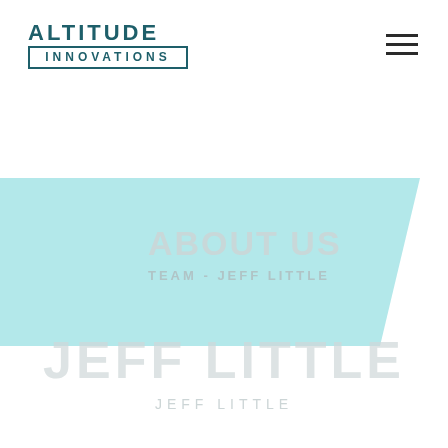[Figure (logo): Altitude Innovations company logo — 'ALTITUDE' in large bold teal uppercase letters above a bordered box containing 'INNOVATIONS' in spaced uppercase teal text]
[Figure (other): Hamburger menu icon — three horizontal dark lines]
[Figure (other): Light teal parallelogram/banner shape spanning the width of the page]
ABOUT US
TEAM - JEFF LITTLE
JEFF LITTLE
JEFF LITTLE